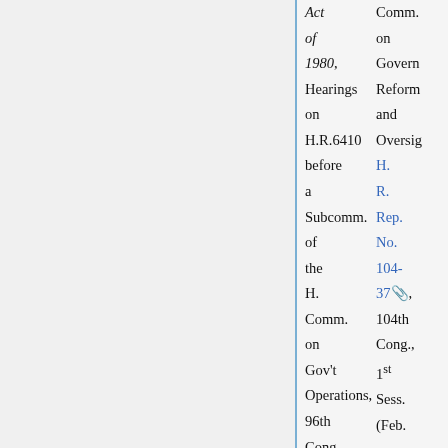Act of 1980, Hearings on H.R.6410 before a Subcomm. of the H. Comm. on Gov't Operations, 96th Cong.,
Comm. on Government Reform and Oversight H. R. Rep. No. 104-37, 104th Cong., 1st Sess. (Feb.